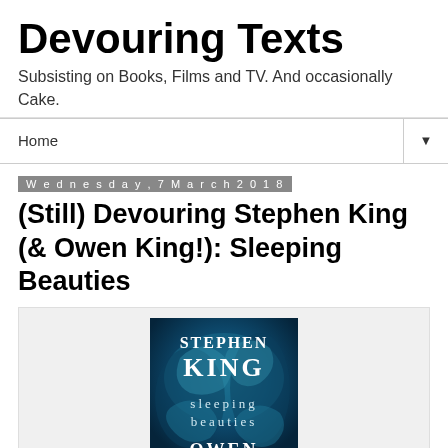Devouring Texts
Subsisting on Books, Films and TV. And occasionally Cake.
Home
Wednesday, 7 March 2018
(Still) Devouring Stephen King (& Owen King!): Sleeping Beauties
[Figure (photo): Book cover of Sleeping Beauties by Stephen King and Owen King. Dark blue background with ethereal figures. Text reads: STEPHEN KING, sleeping beauties, OWEN]